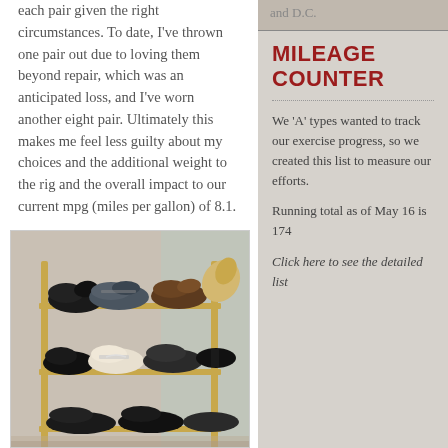each pair given the right circumstances.  To date, I've thrown one pair out due to loving them beyond repair, which was an anticipated loss, and I've worn another eight pair.  Ultimately this makes me feel less guilty about my choices and the additional weight to the rig and the overall impact to our current mpg (miles per gallon) of 8.1.
[Figure (photo): A shoe rack filled with multiple pairs of shoes including sneakers, dress shoes, and casual shoes stacked on three metal shelves near a door.]
and D.C.
MILEAGE COUNTER
We 'A' types wanted to track our exercise progress, so we created this list to measure our efforts.
Running total as of May 16 is 174
Click here to see the detailed list